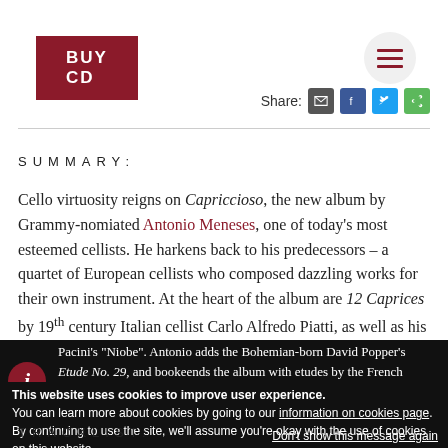[Figure (other): BUY CD button in dark red/maroon]
[Figure (other): Hamburger menu icon in circular grey button]
Share:
SUMMARY:
Cello virtuosity reigns on Capriccioso, the new album by Grammy-nomiated Antonio Meneses, one of today's most esteemed cellists. He harkens back to his predecessors – a quartet of European cellists who composed dazzling works for their own instrument. At the heart of the album are 12 Caprices by 19th century Italian cellist Carlo Alfredo Piatti, as well as his Capriccio sopra un tema della Niobe Di Pacini (Caprice on a Theme from Pacini's "Niobe". Antonio adds the Bohemian-born David Popper's Etude No. 29, and bookeends the album with etudes by the French brothers Jean-Louis and Jean-Pierre Duport.
This website uses cookies to improve user experience. You can learn more about cookies by going to our information on cookies page. By continuing to use the site, we'll assume you're okay with the use of cookies on this website.
TRACKLIST: